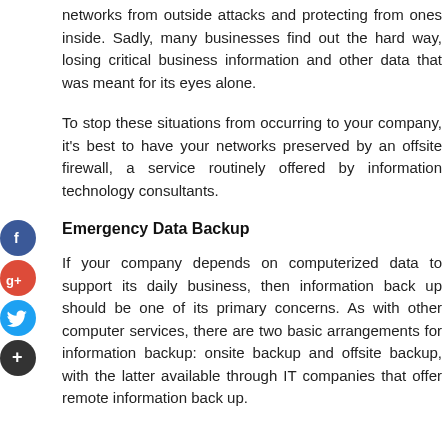networks from outside attacks and protecting from ones inside. Sadly, many businesses find out the hard way, losing critical business information and other data that was meant for its eyes alone.
To stop these situations from occurring to your company, it's best to have your networks preserved by an offsite firewall, a service routinely offered by information technology consultants.
Emergency Data Backup
If your company depends on computerized data to support its daily business, then information back up should be one of its primary concerns. As with other computer services, there are two basic arrangements for information backup: onsite backup and offsite backup, with the latter available through IT companies that offer remote information back up.